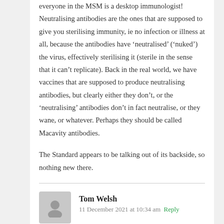everyone in the MSM is a desktop immunologist! Neutralising antibodies are the ones that are supposed to give you sterilising immunity, ie no infection or illness at all, because the antibodies have ‘neutralised’ (‘nuked’) the virus, effectively sterilising it (sterile in the sense that it can’t replicate). Back in the real world, we have vaccines that are supposed to produce neutralising antibodies, but clearly either they don’t, or the ‘neutralising’ antibodies don’t in fact neutralise, or they wane, or whatever. Perhaps they should be called Macavity antibodies.
The Standard appears to be talking out of its backside, so nothing new there.
Tom Welsh
11 December 2021 at 10:34 am · Reply